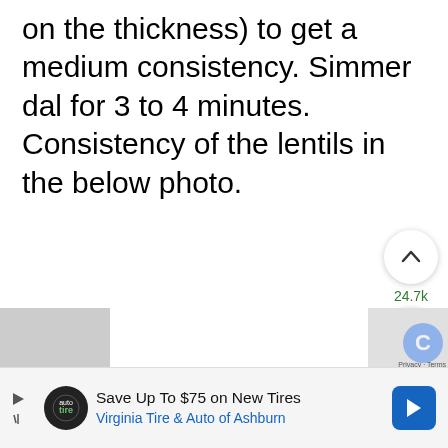on the thickness) to get a medium consistency. Simmer dal for 3 to 4 minutes. Consistency of the lentils in the below photo.
[Figure (screenshot): UI buttons: upvote arrow button with count 24.7k, heart/save button, and green search button on right side]
[Figure (screenshot): Advertisement banner: Save Up To $75 on New Tires, Virginia Tire & Auto of Ashburn, with play button, logo, and blue navigation arrow icon]
[Figure (screenshot): Partial image strip at bottom left (gray placeholder) and reCAPTCHA badge at bottom right]